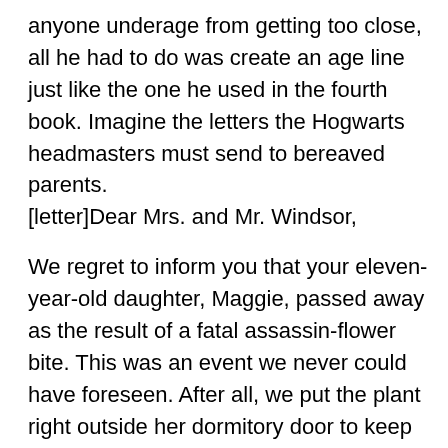anyone underage from getting too close, all he had to do was create an age line just like the one he used in the fourth book. Imagine the letters the Hogwarts headmasters must send to bereaved parents.
[letter]Dear Mrs. and Mr. Windsor,

We regret to inform you that your eleven-year-old daughter, Maggie, passed away as the result of a fatal assassin-flower bite. This was an event we never could have foreseen. After all, we put the plant right outside her dormitory door to keep students from going out while the floors were being polished. We never imagined she'd be so foolish as to fall within reach of its poisonous fangs.